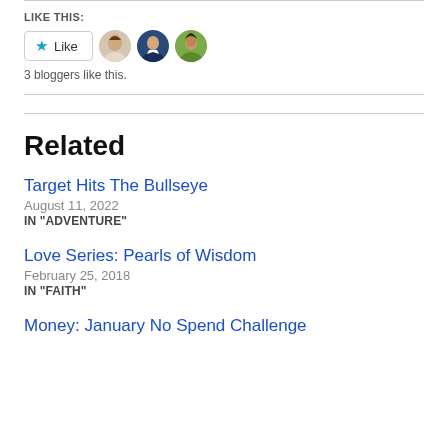LIKE THIS:
[Figure (other): Like button with star icon and three blogger avatars]
3 bloggers like this.
Related
Target Hits The Bullseye
August 11, 2022
IN "ADVENTURE"
Love Series: Pearls of Wisdom
February 25, 2018
IN "FAITH"
Money: January No Spend Challenge